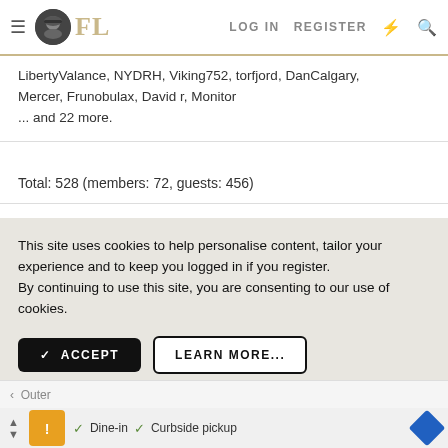FL  LOG IN  REGISTER
LibertyValance, NYDRH, Viking752, torfjord, DanCalgary, Mercer, Frunobulax, David r, Monitor
... and 22 more.
Total: 528 (members: 72, guests: 456)
This site uses cookies to help personalise content, tailor your experience and to keep you logged in if you register.
By continuing to use this site, you are consenting to our use of cookies.
✓ ACCEPT    LEARN MORE...
Outer